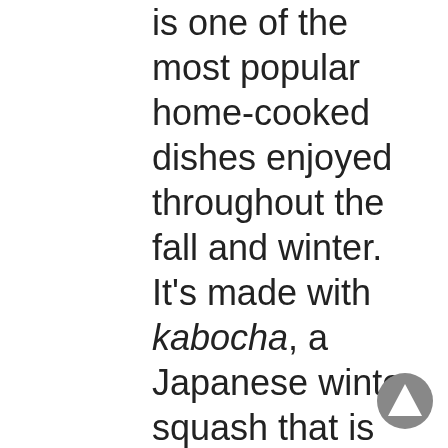is one of the most popular home-cooked dishes enjoyed throughout the fall and winter. It's made with kabocha, a Japanese winter squash that is much sweeter than American pumpkin. You're sure to think of mom's home cooking when you try this dish, and it is an easy and nutritious addition that you can add to any meal. And the best part? This dish can be